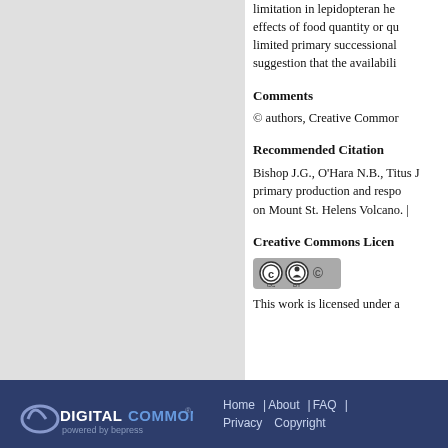limitation in lepidopteran he... effects of food quantity or qu... limited primary successional... suggestion that the availabili...
Comments
© authors, Creative Commor...
Recommended Citation
Bishop J.G., O'Hara N.B., Titus J... primary production and respo... on Mount St. Helens Volcano. ...
Creative Commons License
[Figure (logo): Creative Commons CC BY license badge]
This work is licensed under a...
Home | About | FAQ | Privacy Copyright — DigitalCommons powered by bepress